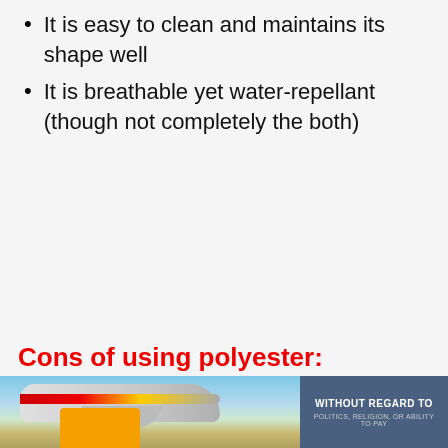It is easy to clean and maintains its shape well
It is breathable yet water-repellant (though not completely the both)
Cons of using polyester:
[Figure (photo): Photo of an airplane on a tarmac being loaded with cargo, with a forklift visible. The airplane has a red and yellow stripe livery. An advertisement banner reading 'WITHOUT REGARD TO POLITICS, RELIGION, OR ABILITY TO PAY' appears in the lower right corner over a dark blue-grey background.]